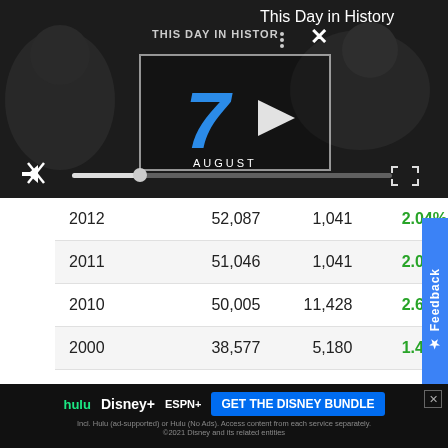[Figure (screenshot): Video player showing 'This Day in History' with a '7 AUGUST' overlay and playback controls including mute, progress bar, and fullscreen button. Top right corner shows 'This Day in History' text on dark background.]
| Year | Value | Change | Pct |
| --- | --- | --- | --- |
| 2012 | 52,087 | 1,041 | 2.04% |
| 2011 | 51,046 | 1,041 | 2.08% |
| 2010 | 50,005 | 11,428 | 2.63% |
| 2000 | 38,577 | 5,180 | 1.45% |
| 1990 | 33,397 | -9,063 | -2.37% |
| 1980 | 42,460 | -2,920 | -0.66% |
[Figure (infographic): Disney Bundle advertisement banner: Hulu, Disney+, ESPN+ logos with 'GET THE DISNEY BUNDLE' call to action button]